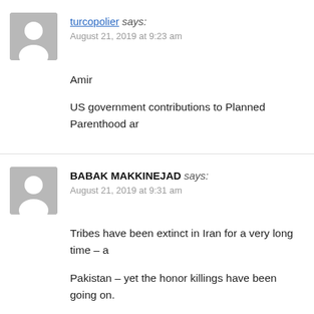turcopolier says: August 21, 2019 at 9:23 am
Amir
US government contributions to Planned Parenthood ar
BABAK MAKKINEJAD says: August 21, 2019 at 9:31 am
Tribes have been extinct in Iran for a very long time – a
Pakistan – yet the honor killings have been going on.
The Catholic Church cannot hold a candle to the Musli
pederasty; which had been going on for centuries.
In India and in China, millions of females fetuses are ab
between a similar practice in Iran is the old Fatwa of Ay